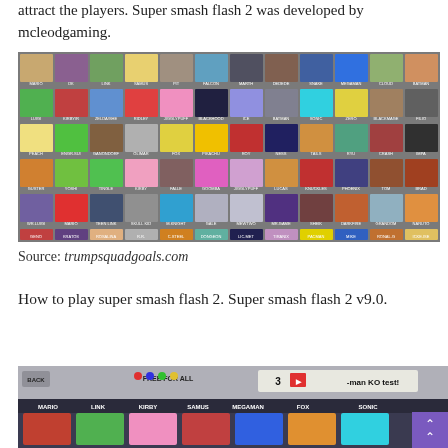attract the players. Super smash flash 2 was developed by mcleodgaming.
[Figure (screenshot): Character selection grid for Super Smash Flash 2 showing approximately 72 character portraits in a 12x6 grid with character names below each portrait]
Source: trumpsquadgoals.com
How to play super smash flash 2. Super smash flash 2 v9.0.
[Figure (screenshot): Super Smash Flash 2 gameplay screenshot showing a 3-man KO test with character selection bar at bottom featuring Mario, Link, Kirby, Samus, Megaman, Fox, and Pikachu/Sonic. A purple button with double up-arrow is visible in the bottom right.]